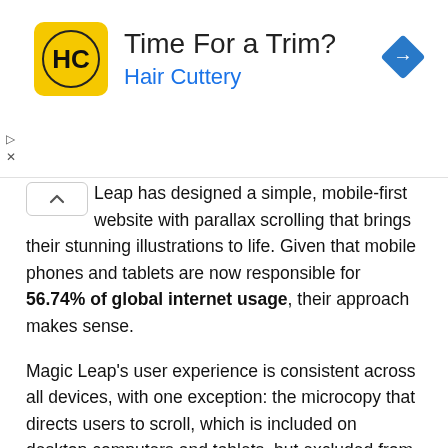[Figure (advertisement): Hair Cuttery ad banner with yellow logo showing HC initials, headline 'Time For a Trim?', subheading 'Hair Cuttery' in blue, blue diamond navigation arrow icon on the right.]
Leap has designed a simple, mobile-first website with parallax scrolling that brings their stunning illustrations to life. Given that mobile phones and tablets are now responsible for 56.74% of global internet usage, their approach makes sense.
Magic Leap's user experience is consistent across all devices, with one exception: the microcopy that directs users to scroll, which is included on desktop computers and tablets, but excluded from mobile devices, where it's natural for users to scroll.
Even with a 3G connection, their website loads in seven seconds—well below the global average of 22 seconds. For a website featuring gorgeous animations, that's an impressive...